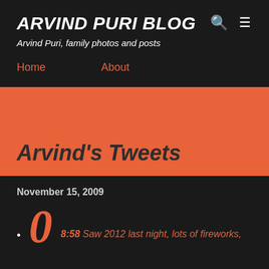ARVIND PURI BLOG
Arvind Puri, family photos and posts
Home
About
Arvind's Tweets
November 15, 2009
8:58 Saw 2012 last night, lots of fireworks,